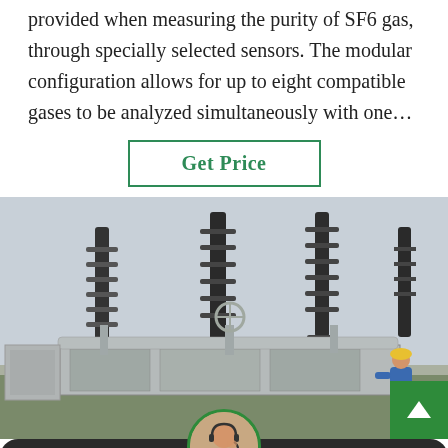provided when measuring the purity of SF6 gas, through specially selected sensors. The modular configuration allows for up to eight compatible gases to be analyzed simultaneously with one…
[Figure (other): Green-bordered 'Get Price' button]
[Figure (photo): Electrical substation with high-voltage equipment, transformers, insulators, transmission towers, and worker in blue protective gear]
Leave Message   Chat Online